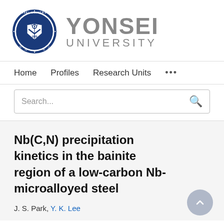[Figure (logo): Yonsei University logo with circular seal (dark blue) and text 'YONSEI UNIVERSITY' in gray]
Home   Profiles   Research Units   ...
Search...
Nb(C,N) precipitation kinetics in the bainite region of a low-carbon Nb-microalloyed steel
J. S. Park, Y. K. Lee